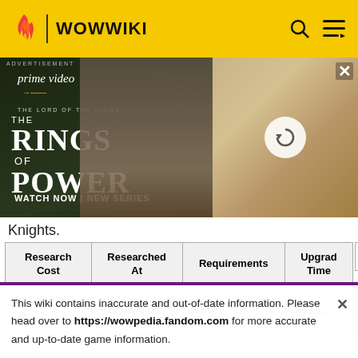WOWWIKI
[Figure (screenshot): Amazon Prime Video advertisement for 'The Lord of the Rings: The Rings of Power' with text 'WATCH NOW | NEW SERIES']
Knights.
| Research Cost | Researched At | Requirements | Upgrade Time |
| --- | --- | --- | --- |
| 100 [gold] 50 [lumber] | Blacksmith | None | 60 sec. |
This wiki contains inaccurate and out-of-date information. Please head over to https://wowpedia.fandom.com for more accurate and up-to-date game information.